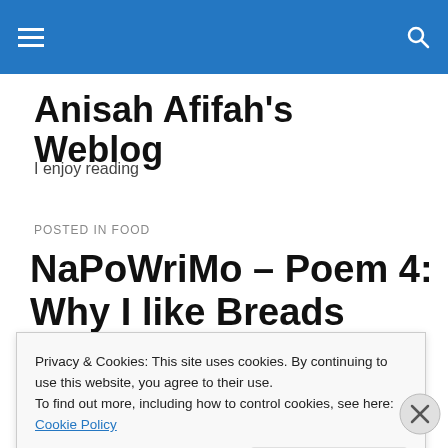Anisah Afifah's Weblog
Anisah Afifah's Weblog
I enjoy reading
POSTED IN FOOD
NaPoWriMo – Poem 4: Why I like Breads
Privacy & Cookies: This site uses cookies. By continuing to use this website, you agree to their use.
To find out more, including how to control cookies, see here: Cookie Policy
Close and accept
Advertisements